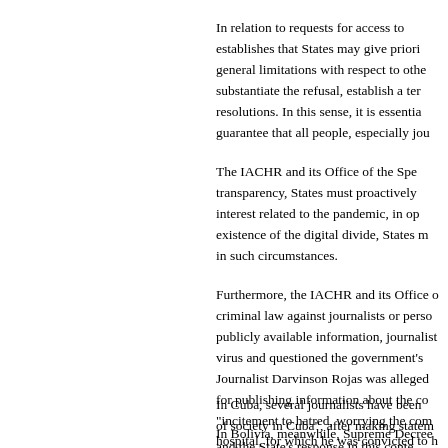In relation to requests for access to establishes that States may give priori general limitations with respect to othe substantiate the refusal, establish a ter resolutions. In this sense, it is essentia guarantee that all people, especially jou
The IACHR and its Office of the Spe transparency, States must proactively interest related to the pandemic, in op existence of the digital divide, States m in such circumstances.
Furthermore, the IACHR and its Office criminal law against journalists or perso publicly available information, journalist virus and questioned the government's Journalist Darvinson Rojas was alleged for publishing information about the co "incitement to hatred, worrying the com hospital, for which he was convicted to h
In Cuba, several journalists have been of society in Cuba", after making statem and the State's response in this conte decree provides that the disseminatio morals, good customs and the integrity
In Bolivia, meanwhile, Supreme Decree